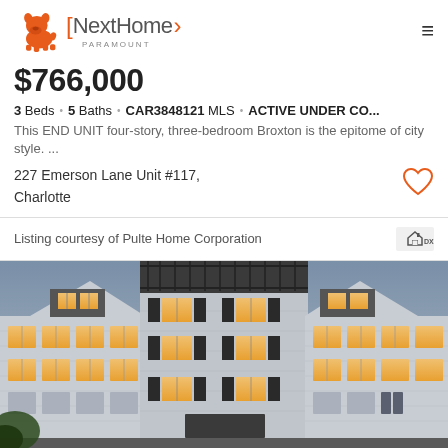NextHome PARAMOUNT
$766,000
3 Beds · 5 Baths · CAR3848121 MLS · ACTIVE UNDER CO...
This END UNIT four-story, three-bedroom Broxton is the epitome of city style. ...
227 Emerson Lane Unit #117, Charlotte
Listing courtesy of Pulte Home Corporation
[Figure (photo): Exterior rendering of a multi-story townhome development with grey siding, white trim windows, dark shutters, and rooftop terrace, lit from inside at dusk.]